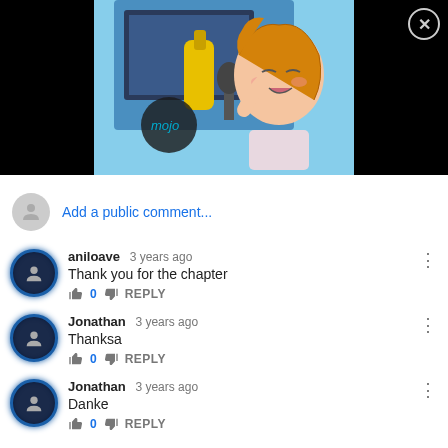[Figure (screenshot): YouTube video thumbnail showing an anime girl singing into a microphone with a yellow item, with WatchMojo/mojo logo visible, on black background with close button]
Add a public comment...
aniloave 3 years ago
Thank you for the chapter
0 REPLY
Jonathan 3 years ago
Thanksa
0 REPLY
Jonathan 3 years ago
Danke
0 REPLY